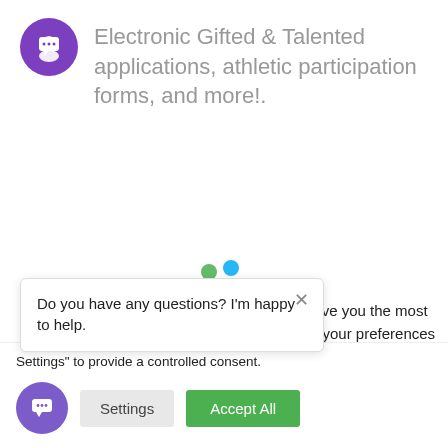Electronic Gifted & Talented applications, athletic participation forms, and more!.
[Figure (logo): Green and blue people/logo icon for educational portal]
Do you have any questions? I'm happy to help.
give you the most g your preferences and ll", you consent to the you may visit "Cookie Settings" to provide a controlled consent.
Settings
Accept All